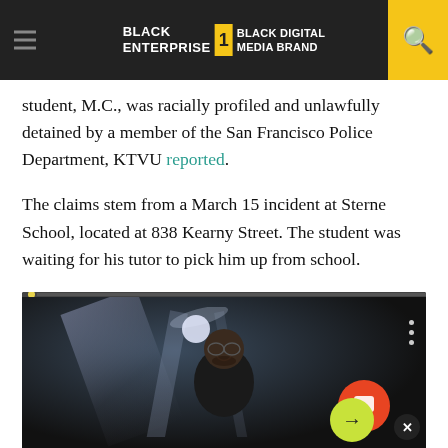BLACK ENTERPRISE — THE #1 BLACK DIGITAL MEDIA BRAND
student, M.C., was racially profiled and unlawfully detained by a member of the San Francisco Police Department, KTVU reported.
The claims stem from a March 15 incident at Sterne School, located at 838 Kearny Street. The student was waiting for his tutor to pick him up from school.
[Figure (photo): Video player showing a man smiling on a dark stage with a spotlight beam in the background. Video progress bar visible at top. Three-dot menu icon on right. Chat bubble and arrow buttons overlaid at bottom right.]